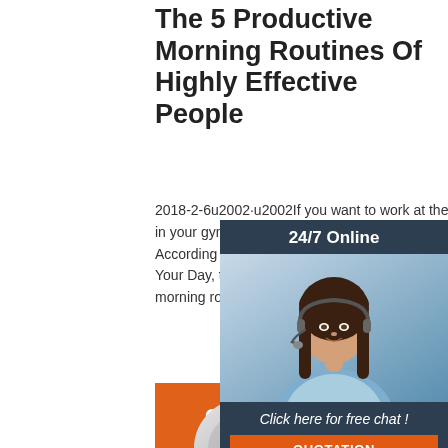The 5 Productive Morning Routines Of Highly Effective People
2018-2-6u2002·u2002If you want to work at the morning, sleep in your gym clothes. 3. A Morning Routine To Focus Your Mind. According to Claire Diaz Ortiz, productivity and author of Design Your Day, the best th can do to be productive is to create your ic morning routine.
[Figure (other): Online chat support advertisement with a woman wearing a headset, '24/7 Online' header, 'Click here for free chat!' text, and an orange 'QUOTATION' button]
Get Price
[Figure (other): Partial circular image visible at bottom center of page]